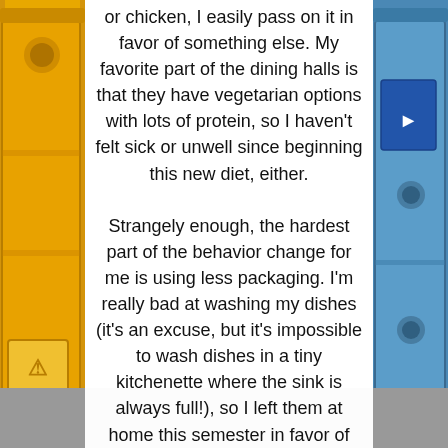[Figure (photo): Background photo of yellow and blue recycling/waste bins on either side of the page, with a grey ground visible at the bottom.]
or chicken, I easily pass on it in favor of something else. My favorite part of the dining halls is that they have vegetarian options with lots of protein, so I haven't felt sick or unwell since beginning this new diet, either.
Strangely enough, the hardest part of the behavior change for me is using less packaging. I'm really bad at washing my dishes (it's an excuse, but it's impossible to wash dishes in a tiny kitchenette where the sink is always full!), so I left them at home this semester in favor of using paper plates, which have been causing a